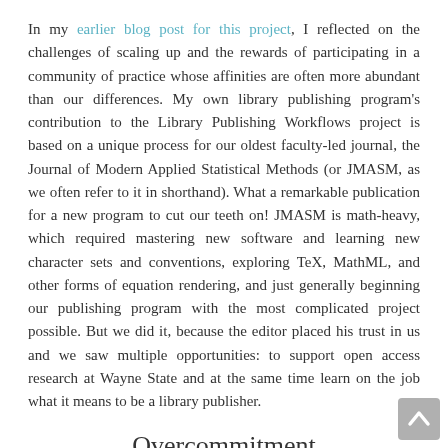In my earlier blog post for this project, I reflected on the challenges of scaling up and the rewards of participating in a community of practice whose affinities are often more abundant than our differences. My own library publishing program's contribution to the Library Publishing Workflows project is based on a unique process for our oldest faculty-led journal, the Journal of Modern Applied Statistical Methods (or JMASM, as we often refer to it in shorthand). What a remarkable publication for a new program to cut our teeth on! JMASM is math-heavy, which required mastering new software and learning new character sets and conventions, exploring TeX, MathML, and other forms of equation rendering, and just generally beginning our publishing program with the most complicated project possible. But we did it, because the editor placed his trust in us and we saw multiple opportunities: to support open access research at Wayne State and at the same time learn on the job what it means to be a library publisher.
Overcommitment
In pursuit of those opportunities, we took on the production responsibilities for JMASM, typesetting every issue ourselves. In retrospect, this was an overcommitment, and I wrote earlier about the ways that this limits our ability to scale up. Our commitment was complicated by the fact that JMASM has...